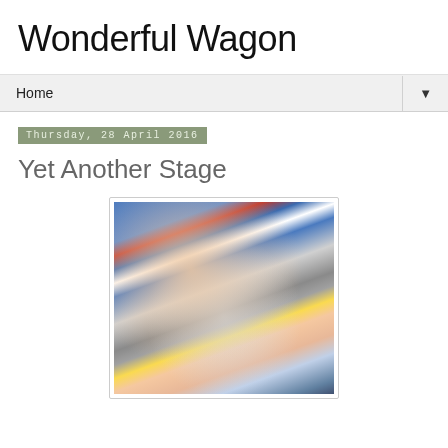Wonderful Wagon
Home
Thursday, 28 April 2016
Yet Another Stage
[Figure (photo): Close-up photo of a child's hands opening a small clear plastic bag with colorful contents, sitting in a car seat. The child is wearing a blue striped shirt and jeans.]